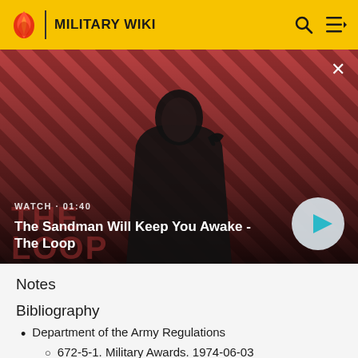MILITARY WIKI
[Figure (screenshot): Video thumbnail showing a dark-cloaked figure with a raven on their shoulder against a red and black diagonal striped background. Text overlay: WATCH • 01:40. Title: The Sandman Will Keep You Awake - The Loop. Play button visible on right.]
Notes
Bibliography
Department of the Army Regulations
672-5-1. Military Awards. 1974-06-03